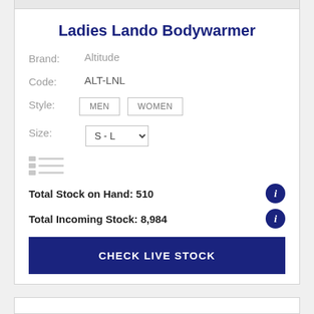Ladies Lando Bodywarmer
Brand: Altitude
Code: ALT-LNL
Style: MEN  WOMEN
Size: S - L
[Figure (other): Color swatch placeholder with three rows of small colored boxes and lines]
Total Stock on Hand: 510
Total Incoming Stock: 8,984
CHECK LIVE STOCK